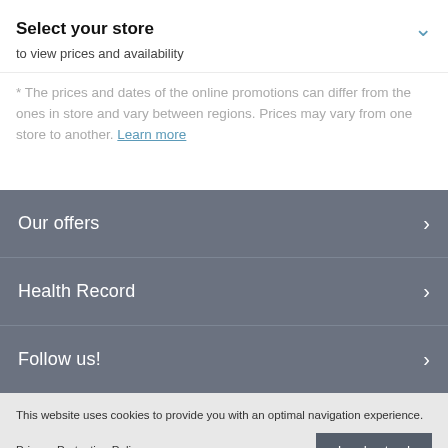Select your store
to view prices and availability
* The prices and dates of the online promotions can differ from the ones in store and vary between regions. Prices may vary from one store to another. Learn more
Our offers
Health Record
Follow us!
This website uses cookies to provide you with an optimal navigation experience.
Privacy Protection Policy
I understand